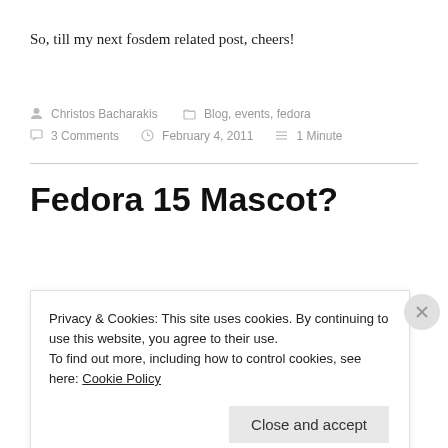So, till my next fosdem related post, cheers!
Christos Bacharakis   Blog, events, fedora   3 Comments   February 4, 2011   1 Minute
Fedora 15 Mascot?
Privacy & Cookies: This site uses cookies. By continuing to use this website, you agree to their use.
To find out more, including how to control cookies, see here: Cookie Policy
Close and accept